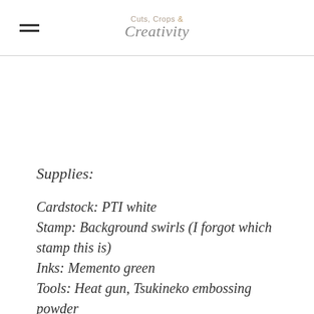Cuts, Crops & Creativity
Supplies:
Cardstock: PTI white
Stamp: Background swirls (I forgot which stamp this is)
Inks: Memento green
Tools: Heat gun, Tsukineko embossing powder